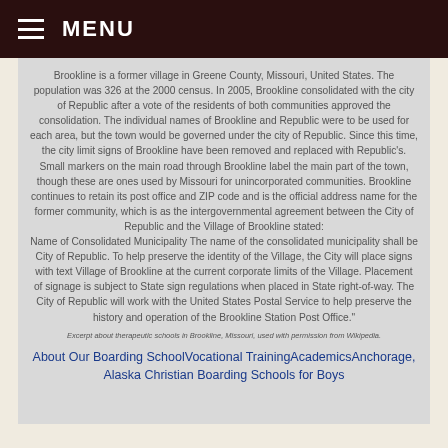MENU
Brookline is a former village in Greene County, Missouri, United States. The population was 326 at the 2000 census. In 2005, Brookline consolidated with the city of Republic after a vote of the residents of both communities approved the consolidation. The individual names of Brookline and Republic were to be used for each area, but the town would be governed under the city of Republic. Since this time, the city limit signs of Brookline have been removed and replaced with Republic's. Small markers on the main road through Brookline label the main part of the town, though these are ones used by Missouri for unincorporated communities. Brookline continues to retain its post office and ZIP code and is the official address name for the former community, which is as the intergovernmental agreement between the City of Republic and the Village of Brookline stated: Name of Consolidated Municipality The name of the consolidated municipality shall be City of Republic. To help preserve the identity of the Village, the City will place signs with text Village of Brookline at the current corporate limits of the Village. Placement of signage is subject to State sign regulations when placed in State right-of-way. The City of Republic will work with the United States Postal Service to help preserve the history and operation of the Brookline Station Post Office."
Excerpt about therapeutic schools in Brookline, Missouri, used with permission from Wikipedia.
About Our Boarding SchoolVocational TrainingAcademicsAnchorage, Alaska Christian Boarding Schools for Boys